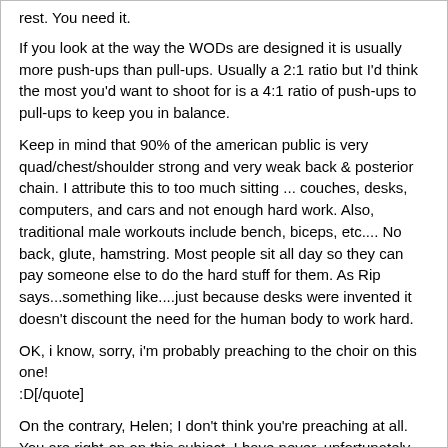rest. You need it.
If you look at the way the WODs are designed it is usually more push-ups than pull-ups. Usually a 2:1 ratio but I'd think the most you'd want to shoot for is a 4:1 ratio of push-ups to pull-ups to keep you in balance.
Keep in mind that 90% of the american public is very quad/chest/shoulder strong and very weak back & posterior chain. I attribute this to too much sitting ... couches, desks, computers, and cars and not enough hard work. Also, traditional male workouts include bench, biceps, etc.... No back, glute, hamstring. Most people sit all day so they can pay someone else to do the hard stuff for them. As Rip says...something like....just because desks were invented it doesn't discount the need for the human body to work hard.
OK, i know, sorry, i'm probably preaching to the choir on this one! :D[/quote]
On the contrary, Helen; I don't think you're preaching at all. You are right-on on this subject. I have never, unfortunately, really worked properly to develop P-chain strength or chest/shoulder strength until I began CrossFit. The CF program has forced that development, much to my appreciation. I've always been naturally strong in my back, abs, and quads, but that was it. Getting to do push ups and pull-ups has been worse than pulling teeth for me. I have long arms for my height and in terms of physics, longer levers with short fulcrums (attachment points of tendons for the prime movers low on the bone). This makes me comparatively "less functionally strong" than a shorter person or one my height with more proportionally "correct" limb length.